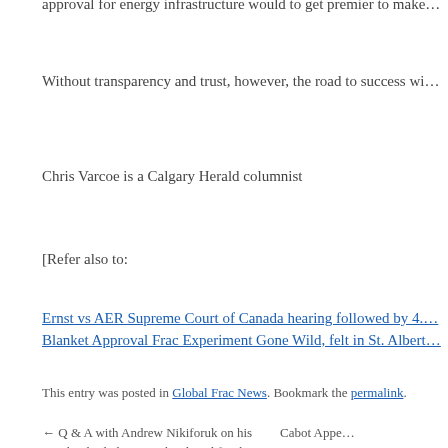approval for energy infrastructure would to get premier to make…
Without transparency and trust, however, the road to success wi…
Chris Varcoe is a Calgary Herald columnist
[Refer also to:
Ernst vs AER Supreme Court of Canada hearing followed by 4.… Blanket Approval Frac Experiment Gone Wild, felt in St. Albert…
This entry was posted in Global Frac News. Bookmark the permalink.
← Q & A with Andrew Nikiforuk on his new book Slick Water shortlisted for the 2016 Shaughnessy Cohen Prize
Cabot Appe… Contaminate… $4.24 Mill…
Ernst v. EnCana Corporation